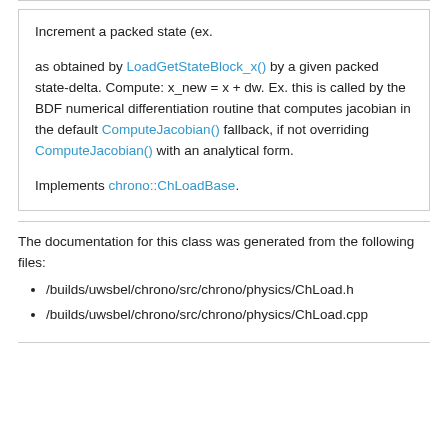Increment a packed state (ex.

as obtained by LoadGetStateBlock_x() by a given packed state-delta. Compute: x_new = x + dw. Ex. this is called by the BDF numerical differentiation routine that computes jacobian in the default ComputeJacobian() fallback, if not overriding ComputeJacobian() with an analytical form.

Implements chrono::ChLoadBase.
The documentation for this class was generated from the following files:
/builds/uwsbel/chrono/src/chrono/physics/ChLoad.h
/builds/uwsbel/chrono/src/chrono/physics/ChLoad.cpp